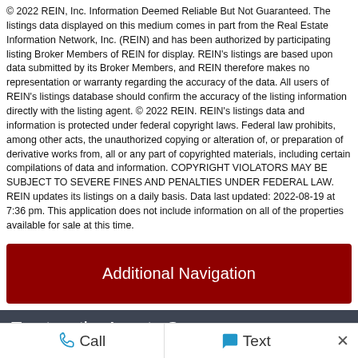© 2022 REIN, Inc. Information Deemed Reliable But Not Guaranteed. The listings data displayed on this medium comes in part from the Real Estate Information Network, Inc. (REIN) and has been authorized by participating listing Broker Members of REIN for display. REIN's listings are based upon data submitted by its Broker Members, and REIN therefore makes no representation or warranty regarding the accuracy of the data. All users of REIN's listings database should confirm the accuracy of the listing information directly with the listing agent. © 2022 REIN. REIN's listings data and information is protected under federal copyright laws. Federal law prohibits, among other acts, the unauthorized copying or alteration of, or preparation of derivative works from, all or any part of copyrighted materials, including certain compilations of data and information. COPYRIGHT VIOLATORS MAY BE SUBJECT TO SEVERE FINES AND PENALTIES UNDER FEDERAL LAW. REIN updates its listings on a daily basis. Data last updated: 2022-08-19 at 7:36 pm. This application does not include information on all of the properties available for sale at this time.
Additional Navigation
Trustworthy Agents Group
Keller Williams Realty
1100 Volvo Pkwy Suite 200,
Call   Text   ×